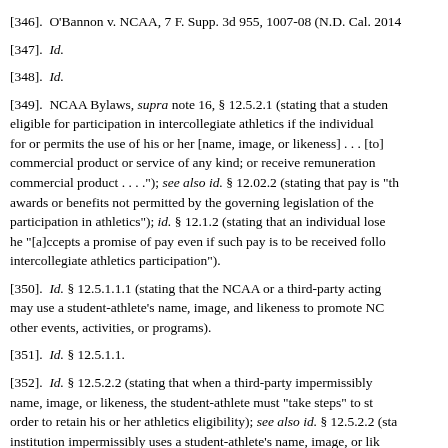[346].  O'Bannon v. NCAA, 7 F. Supp. 3d 955, 1007-08 (N.D. Cal. 2014
[347].  Id.
[348].  Id.
[349].  NCAA Bylaws, supra note 16, § 12.5.2.1 (stating that a student eligible for participation in intercollegiate athletics if the individual for or permits the use of his or her [name, image, or likeness] . . . [to] commercial product or service of any kind; or receive remuneration commercial product . . . ."); see also id. § 12.02.2 (stating that pay is "th awards or benefits not permitted by the governing legislation of the participation in athletics"); id. § 12.1.2 (stating that an individual lose he "[a]ccepts a promise of pay even if such pay is to be received follo intercollegiate athletics participation").
[350].  Id. § 12.5.1.1.1 (stating that the NCAA or a third-party acting may use a student-athlete's name, image, and likeness to promote NC other events, activities, or programs).
[351].  Id. § 12.5.1.1.
[352].  Id. § 12.5.2.2 (stating that when a third-party impermissibly name, image, or likeness, the student-athlete must "take steps" to st order to retain his or her athletics eligibility); see also id. § 12.5.2.2 (sta institution impermissibly uses a student-athlete's name, image, or lik